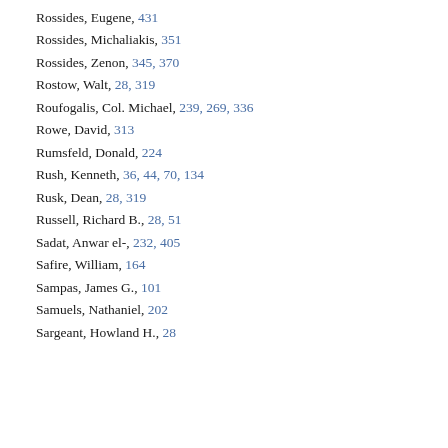Rossides, Eugene, 431
Rossides, Michaliakis, 351
Rossides, Zenon, 345, 370
Rostow, Walt, 28, 319
Roufogalis, Col. Michael, 239, 269, 336
Rowe, David, 313
Rumsfeld, Donald, 224
Rush, Kenneth, 36, 44, 70, 134
Rusk, Dean, 28, 319
Russell, Richard B., 28, 51
Sadat, Anwar el-, 232, 405
Safire, William, 164
Sampas, James G., 101
Samuels, Nathaniel, 202
Sargeant, Howland H., 28